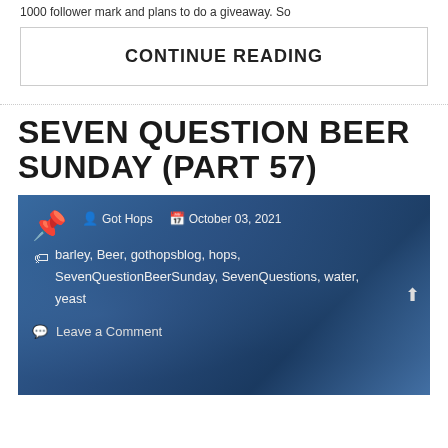1000 follower mark and plans to do a giveaway. So
CONTINUE READING
SEVEN QUESTION BEER SUNDAY (PART 57)
[Figure (photo): A person in a blue shirt holding beer cans and a dark green bottle, with metadata overlay showing author Got Hops, date October 03, 2021, tags barley, Beer, gothopsblog, hops, SevenQuestionBeerSunday, SevenQuestions, water, yeast, and a Leave a Comment link.]